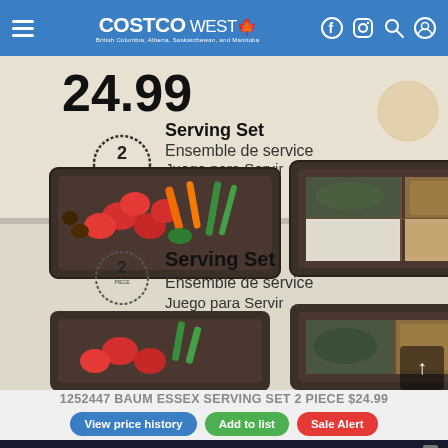COSTCO WEST - British Columbia, Alberta, Saskatchewan, and Manitoba
[Figure (photo): Costco store shelf showing Baum Essex Serving Set 2-piece product boxes. Box shows price $24.99, decorative serving trays filled with vegetables and dips. Text: Serving Set / Ensemble de service / Juego para Servir. Two rows of boxes visible.]
1252447 BAUM ESSEX SERVING SET 2 PIECE $24.99
View price history
Add to list
Sale Alert
[Figure (advertisement): FALL IN LOVE advertisement banner with dog image on dark background]